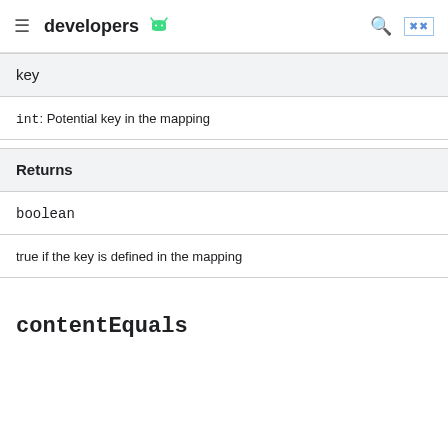developers
| key |
| int: Potential key in the mapping |
| Returns |
| --- |
| boolean |
| true if the key is defined in the mapping |
contentEquals